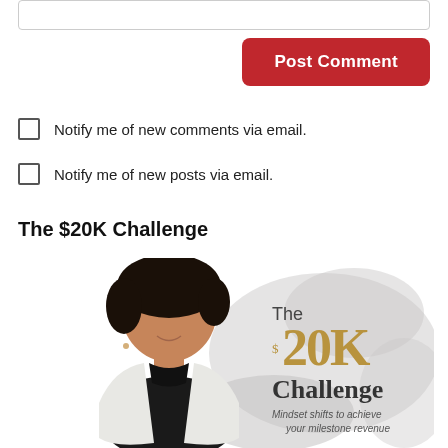Post Comment
Notify me of new comments via email.
Notify me of new posts via email.
The $20K Challenge
[Figure (photo): Book cover for 'The $20K Challenge: Mindset shifts to achieve your milestone revenue' featuring a Black woman in a white blazer and black top, with gold and grey typographic text on the right side of the cover.]